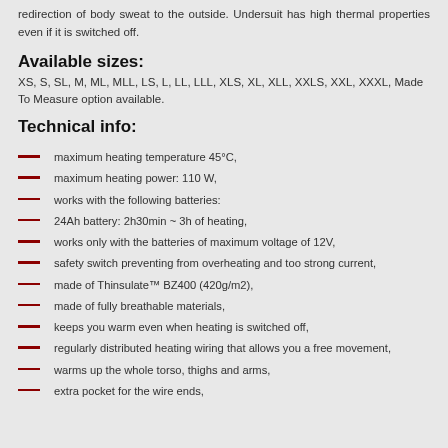redirection of body sweat to the outside. Undersuit has high thermal properties even if it is switched off.
Available sizes:
XS, S, SL, M, ML, MLL, LS, L, LL, LLL, XLS, XL, XLL, XXLS, XXL, XXXL, Made To Measure option available.
Technical info:
maximum heating temperature 45°C,
maximum heating power: 110 W,
works with the following batteries:
24Ah battery: 2h30min ~ 3h of heating,
works only with the batteries of maximum voltage of 12V,
safety switch preventing from overheating and too strong current,
made of Thinsulate™ BZ400 (420g/m2),
made of fully breathable materials,
keeps you warm even when heating is switched off,
regularly distributed heating wiring that allows you a free movement,
warms up the whole torso, thighs and arms,
extra pocket for the wire ends,